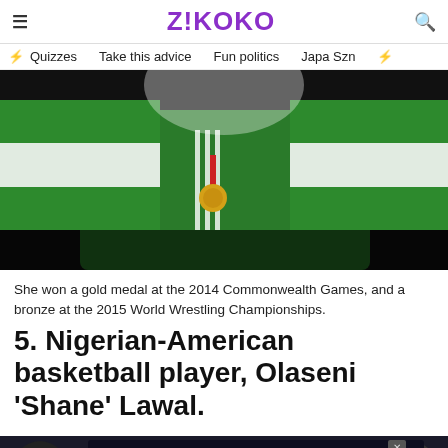Z!KOKO
Quizzes  Take this advice  Fun politics  Japa Szn
[Figure (photo): Athlete in green Nigerian jersey holding Nigerian flag behind them, wearing a gold medal on a red ribbon, celebrating victory]
She won a gold medal at the 2014 Commonwealth Games, and a bronze at the 2015 World Wrestling Championships.
5. Nigerian-American basketball player, Olaseni 'Shane' Lawal.
[Figure (photo): Bottom of page showing a person and an advertisement overlay for Prime Video: NAIJA HOW FAR? JAPA TO PRIME VIDEO]